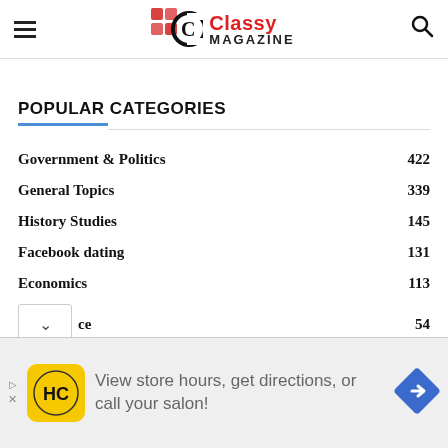Classy MAGAZINE
POPULAR CATEGORIES
Government & Politics  422
General Topics  339
History Studies  145
Facebook dating  131
Economics  113
ce  54
[Figure (other): Advertisement banner: HC logo, text 'View store hours, get directions, or call your salon!', navigation arrow icon]
▷ ×